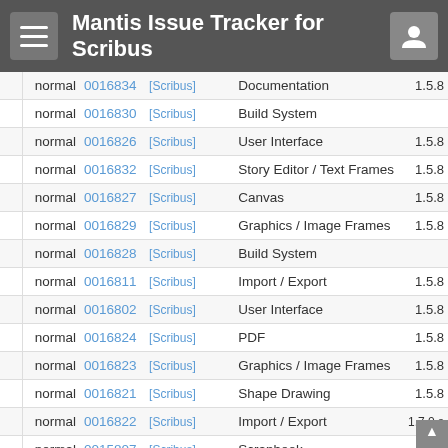Mantis Issue Tracker for Scribus
|  | Severity | ID | Category | Summary | Version |
| --- | --- | --- | --- | --- | --- |
|  | normal | 0016834 | [Scribus] | Documentation | 1.5.8 |
|  | normal | 0016830 | [Scribus] | Build System |  |
|  | normal | 0016826 | [Scribus] | User Interface | 1.5.8 |
|  | normal | 0016832 | [Scribus] | Story Editor / Text Frames | 1.5.8 |
|  | normal | 0016827 | [Scribus] | Canvas | 1.5.8 |
|  | normal | 0016829 | [Scribus] | Graphics / Image Frames | 1.5.8 |
|  | normal | 0016828 | [Scribus] | Build System |  |
|  | normal | 0016811 | [Scribus] | Import / Export | 1.5.8 |
|  | normal | 0016802 | [Scribus] | User Interface | 1.5.8 |
|  | normal | 0016824 | [Scribus] | PDF | 1.5.8 |
|  | normal | 0016823 | [Scribus] | Graphics / Image Frames | 1.5.8 |
|  | normal | 0016821 | [Scribus] | Shape Drawing | 1.5.8 |
|  | normal | 0016822 | [Scribus] | Import / Export | 1.7.0.s |
|  | normal | 0015807 | [Scribus] | Scrapbook | 1.5.6 |